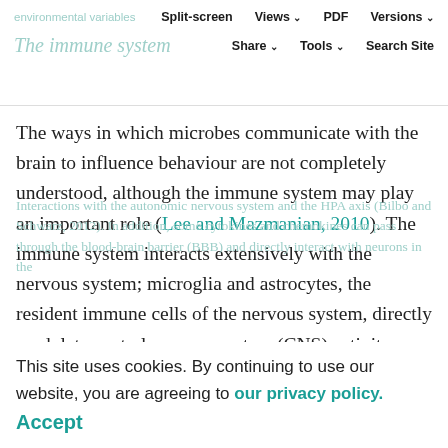environmental variables  Split-screen  Views  PDF  Versions  The immune system  Share  Tools  Search Site
The ways in which microbes communicate with the brain to influence behaviour are not completely understood, although the immune system may play an important role (Lee and Mazmanian, 2010). The immune system interacts extensively with the nervous system; microglia and astrocytes, the resident immune cells of the nervous system, directly modulate central nervous system (CNS) activity (Vezzani and Viviani, 2015). Furthermore, cytokines (see Glossary) can indirectly modulate CNS activity via
Interactions with the autonomic nervous system and the HPA axis (Bilbo and Schwarz, 2012). In addition, some cytokines and chemokines can pass through the blood-brain barrier (BBB) and directly interact with neurons in the
This site uses cookies. By continuing to use our website, you are agreeing to our privacy policy. Accept